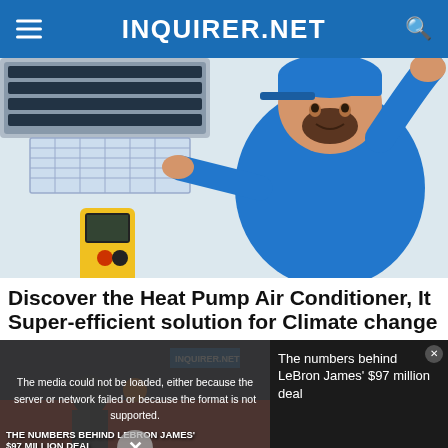INQUIRER.NET
[Figure (photo): A man in a blue shirt and blue cap working on a wall-mounted air conditioning unit, holding a multimeter tool, with the AC filter panel open.]
Discover the Heat Pump Air Conditioner, It Super-efficient solution for Climate change
[Figure (screenshot): Video player showing a basketball player, with error overlay: 'The media could not be loaded, either because the server or network failed or because the format is not supported.' An X close button is visible at bottom center. On the right side: 'The numbers behind LeBron James' $97 million deal' text overlay. Bottom left shows text: 'THE NUMBERS BEHIND LEBRON JAMES' $97 MILLION DEAL']